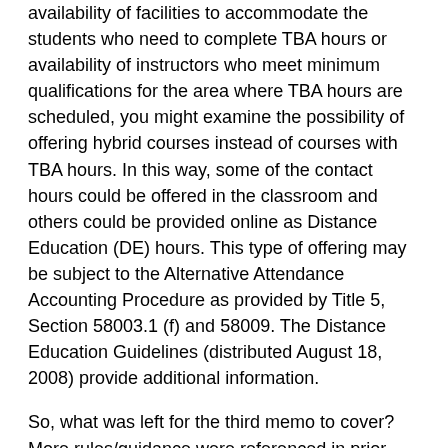availability of facilities to accommodate the students who need to complete TBA hours or availability of instructors who meet minimum qualifications for the area where TBA hours are scheduled, you might examine the possibility of offering hybrid courses instead of courses with TBA hours. In this way, some of the contact hours could be offered in the classroom and others could be provided online as Distance Education (DE) hours. This type of offering may be subject to the Alternative Attendance Accounting Procedure as provided by Title 5, Section 58003.1 (f) and 58009. The Distance Education Guidelines (distributed August 18, 2008) provide additional information.
So, what was left for the third memo to cover? More rules/guidance were referenced in prior memos. What was to be implemented in order to ensure that there is no more abuse of TBA?
The "Second 2nd To Be Arranged (TBA) Hours Follow-Up